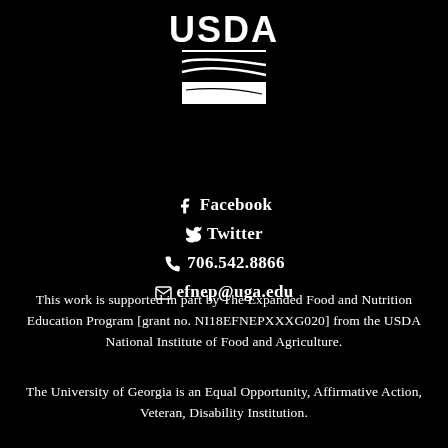[Figure (logo): USDA logo — white text 'USDA' with stylized swoosh/landscape graphic on black background]
Facebook
Twitter
706.542.8866
efnep@uga.edu
This work is supported in part by The Expanded Food and Nutrition Education Program [grant no. NI18EFNEPXXXG020] from the USDA National Institute of Food and Agriculture.
The University of Georgia is an Equal Opportunity, Affirmative Action, Veteran, Disability Institution.